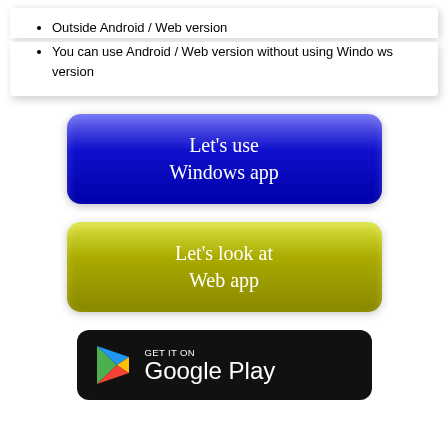Outside Android / Web version
You can use Android / Web version without using Windows version
[Figure (illustration): Blue rounded rectangle button with text: Let's use Windows app]
[Figure (illustration): Yellow-green rounded rectangle button with text: Let's look at Web app]
[Figure (illustration): Google Play Store badge: GET IT ON Google Play with Play icon]